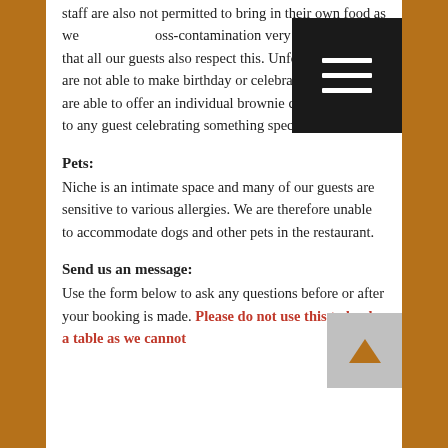staff are also not permitted to bring in their own food as we take cross-contamination very seriously and ask that all our guests also respect this. Unfortunately we are not able to make birthday or celebration cakes, but are able to offer an individual brownie cake with candle to any guest celebrating something special.
Pets:
Niche is an intimate space and many of our guests are sensitive to various allergies. We are therefore unable to accommodate dogs and other pets in the restaurant.
Send us an message:
Use the form below to ask any questions before or after your booking is made. Please do not use this to book a table as we cannot